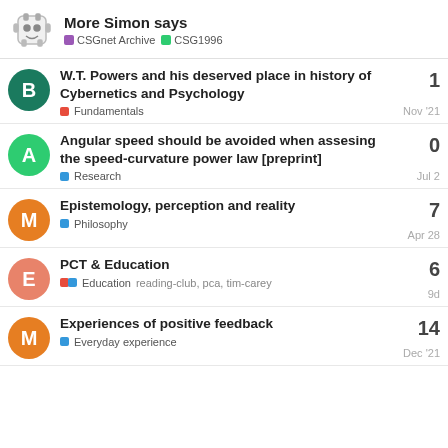More Simon says — CSGnet Archive | CSG1996
W.T. Powers and his deserved place in history of Cybernetics and Psychology | Fundamentals | Nov '21 | 1
Angular speed should be avoided when assesing the speed-curvature power law [preprint] | Research | Jul 2 | 0
Epistemology, perception and reality | Philosophy | Apr 28 | 7
PCT & Education | Education | reading-club, pca, tim-carey | 9d | 6
Experiences of positive feedback | Everyday experience | Dec '21 | 14